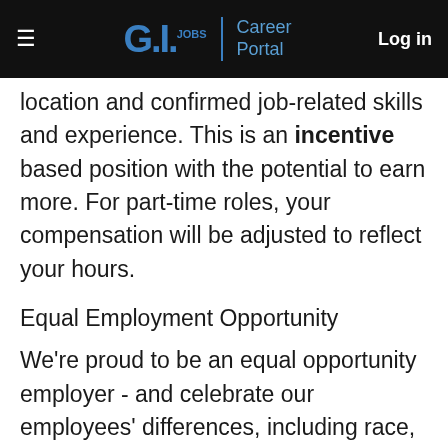G.I. JOBS | Career Portal  Log in
location and confirmed job-related skills and experience. This is an incentive based position with the potential to earn more. For part-time roles, your compensation will be adjusted to reflect your hours.
Equal Employment Opportunity
We're proud to be an equal opportunity employer - and celebrate our employees' differences, including race, color, religion, sex, sexual orientation,